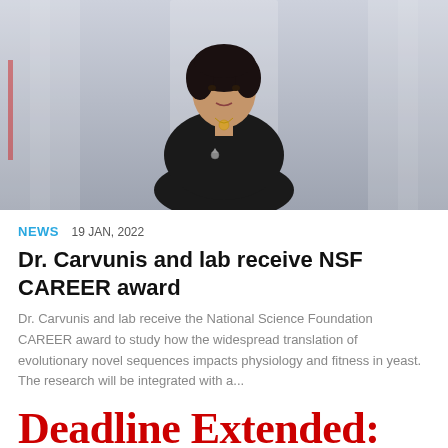[Figure (photo): Portrait photo of Dr. Carvunis, a woman with dark short curly hair wearing a black outfit with a gold necklace and brooch, standing in a hallway with blurred background]
NEWS  19 JAN, 2022
Dr. Carvunis and lab receive NSF CAREER award
Dr. Carvunis and lab receive the National Science Foundation CAREER award to study how the widespread translation of evolutionary novel sequences impacts physiology and fitness in yeast. The research will be integrated with a...
Deadline Extended:
More Dec 13th